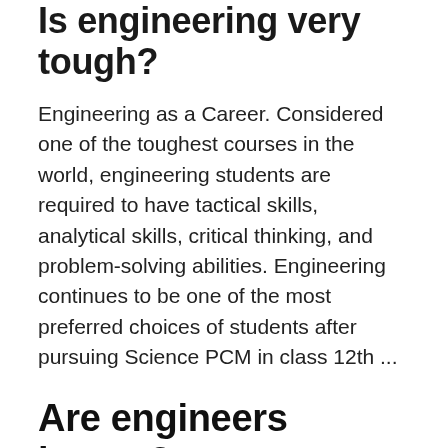Is engineering very tough?
Engineering as a Career. Considered one of the toughest courses in the world, engineering students are required to have tactical skills, analytical skills, critical thinking, and problem-solving abilities. Engineering continues to be one of the most preferred choices of students after pursuing Science PCM in class 12th ...
Are engineers happy?
Engineers are below average when it comes to happiness. As it turns out, engineers rate their career happiness 3.1 out of 5 stars which puts them in the bottom 40% of careers. ...